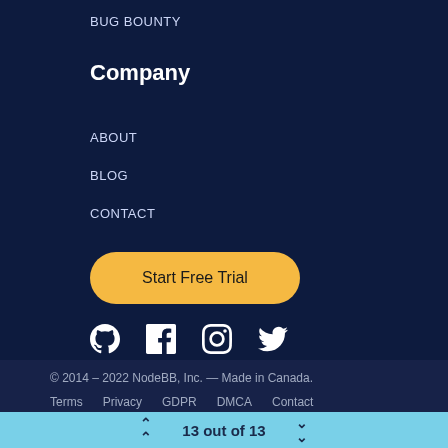BUG BOUNTY
Company
ABOUT
BLOG
CONTACT
[Figure (other): Start Free Trial button (yellow/gold rounded rectangle)]
[Figure (other): Social media icons: GitHub, Facebook, Instagram, Twitter]
© 2014 – 2022 NodeBB, Inc. — Made in Canada.
Terms   Privacy   GDPR   DMCA   Contact
13 out of 13